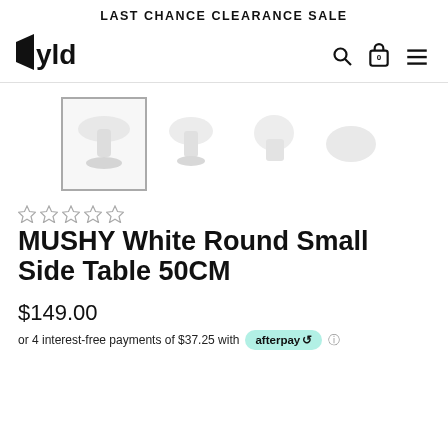LAST CHANCE CLEARANCE SALE
[Figure (logo): WYLD brand logo in bold black stylized text]
[Figure (screenshot): Product image thumbnails: white mushroom-shaped side table shown from 4 angles]
★☆☆☆☆ (5 empty stars rating)
MUSHY White Round Small Side Table 50CM
$149.00
or 4 interest-free payments of $37.25 with afterpay